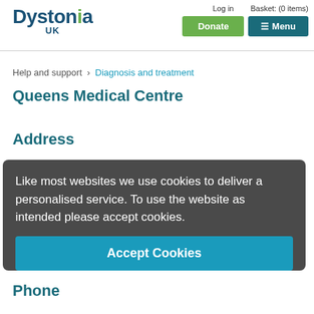Dystonia UK | Log in | Basket: (0 items) | Donate | Menu
Help and support › Diagnosis and treatment
Queens Medical Centre
Address
Queens Medical Centre
Derby Road
Nottingham

NG7 2UH
Phone
Like most websites we use cookies to deliver a personalised service. To use the website as intended please accept cookies.
Accept Cookies